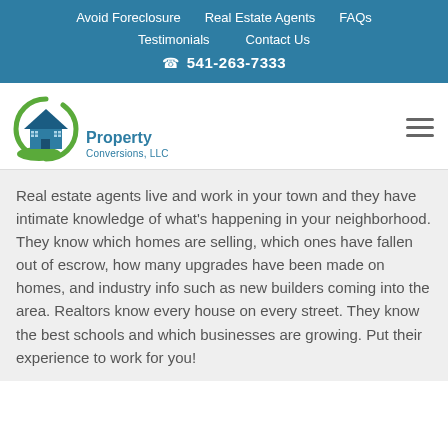Avoid Foreclosure  Real Estate Agents  FAQs  Testimonials  Contact Us  541-263-7333
[Figure (logo): Property Conversions LLC logo with a house icon inside a green circular swoosh, dark blue house with windows, green landscape element at bottom, and company name below]
Real estate agents live and work in your town and they have intimate knowledge of what's happening in your neighborhood. They know which homes are selling, which ones have fallen out of escrow, how many upgrades have been made on homes, and industry info such as new builders coming into the area. Realtors know every house on every street. They know the best schools and which businesses are growing. Put their experience to work for you!